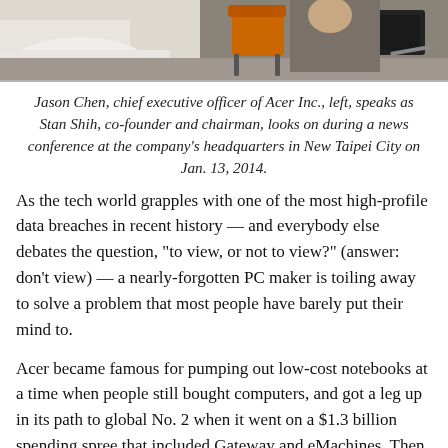[Figure (photo): Partial photo of two people in an office/conference setting with an orange chair visible in background and what appears to be a bag or notebook on a surface at right.]
Jason Chen, chief executive officer of Acer Inc., left, speaks as Stan Shih, co-founder and chairman, looks on during a news conference at the company's headquarters in New Taipei City on Jan. 13, 2014.
As the tech world grapples with one of the most high-profile data breaches in recent history — and everybody else debates the question, "to view, or not to view?" (answer: don't view) — a nearly-forgotten PC maker is toiling away to solve a problem that most people have barely put their mind to.
Acer became famous for pumping out low-cost notebooks at a time when people still bought computers, and got a leg up in its path to global No. 2 when it went on a $1.3 billion spending spree that included Gateway and eMachines. Then the advent of Apple's iPad, the array of cloud-based services Cupertino offers, and Acer's inability to adapt to change led the Taiwanese company to its first annual losses and a renovation of